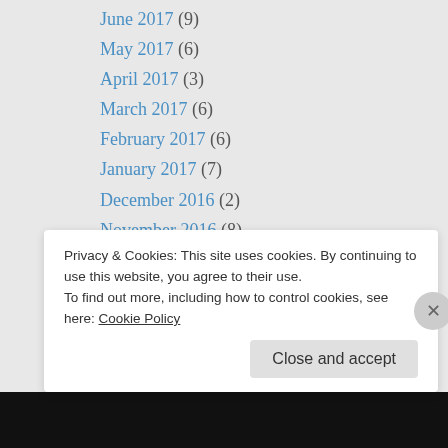June 2017 (9)
May 2017 (6)
April 2017 (3)
March 2017 (6)
February 2017 (6)
January 2017 (7)
December 2016 (2)
November 2016 (8)
October 2016 (3)
September 2016 (4)
August 2016 (3)
July 2016 (3)
June 2016 (6)
May 2016 (4)
April 2016 (6)
Privacy & Cookies: This site uses cookies. By continuing to use this website, you agree to their use.
To find out more, including how to control cookies, see here: Cookie Policy
Close and accept